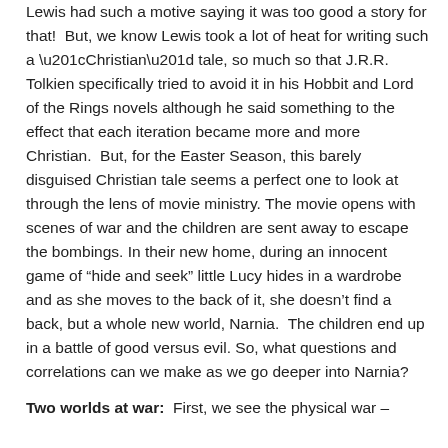Lewis had such a motive saying it was too good a story for that! But, we know Lewis took a lot of heat for writing such a “Christian” tale, so much so that J.R.R. Tolkien specifically tried to avoid it in his Hobbit and Lord of the Rings novels although he said something to the effect that each iteration became more and more Christian. But, for the Easter Season, this barely disguised Christian tale seems a perfect one to look at through the lens of movie ministry. The movie opens with scenes of war and the children are sent away to escape the bombings. In their new home, during an innocent game of “hide and seek” little Lucy hides in a wardrobe and as she moves to the back of it, she doesn’t find a back, but a whole new world, Narnia. The children end up in a battle of good versus evil. So, what questions and correlations can we make as we go deeper into Narnia?
Two worlds at war: First, we see the physical war –